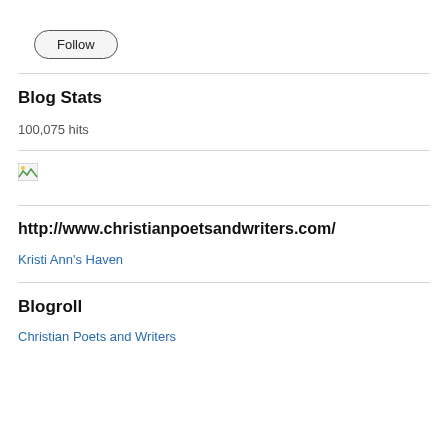Follow
Blog Stats
100,075 hits
[Figure (other): Broken image placeholder]
http://www.christianpoetsandwriters.com/
Kristi Ann's Haven
Blogroll
Christian Poets and Writers